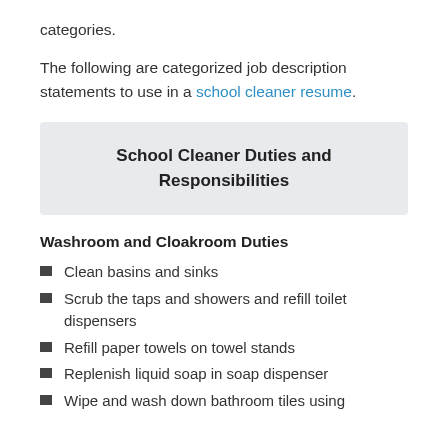categories.
The following are categorized job description statements to use in a school cleaner resume.
School Cleaner Duties and Responsibilities
Washroom and Cloakroom Duties
Clean basins and sinks
Scrub the taps and showers and refill toilet dispensers
Refill paper towels on towel stands
Replenish liquid soap in soap dispenser
Wipe and wash down bathroom tiles using